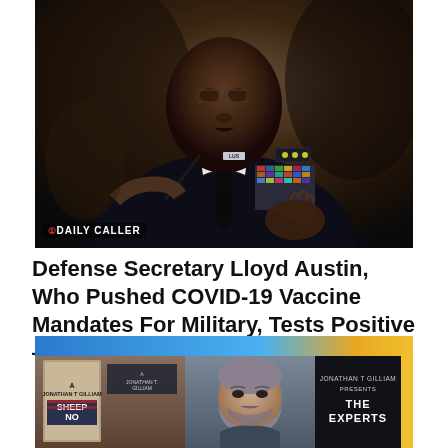[Figure (photo): Photo of Defense Secretary Lloyd Austin in military dress uniform with medals and ribbons, gesturing while speaking, with a Daily Caller watermark in the lower left corner of the image.]
Defense Secretary Lloyd Austin, Who Pushed COVID-19 Vaccine Mandates For Military, Tests Positive — Again
[Figure (screenshot): Screenshot of a video broadcast with a blue and yellow banner background. On the left is a book cover showing 'SHEEP NO MORE' by Jonathan T. Gilliam. In the center is a man with a beard. On the right is a dark panel with text reading 'JONATHAN T GILLIAM PRESENTS THE EXPERTS'.]